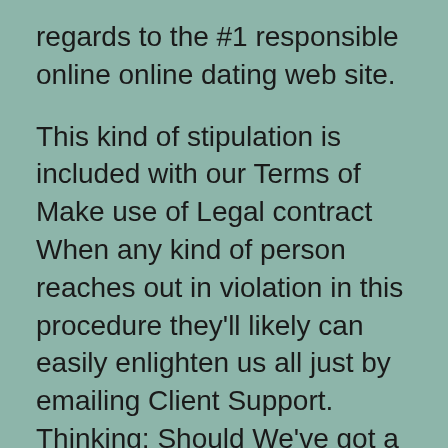regards to the #1 responsible online online dating web site.
This kind of stipulation is included with our Terms of Make use of Legal contract When any kind of person reaches out in violation in this procedure they'll likely can easily enlighten us all just by emailing Client Support. Thinking: Should We've got a tendency choose believe a deep automated captivation to, it'verts definitely not an essential marital life worthwhile pursuing. Contrary to supplemental on the web online dating sites with regard to free web pages is a wonderful location to meet